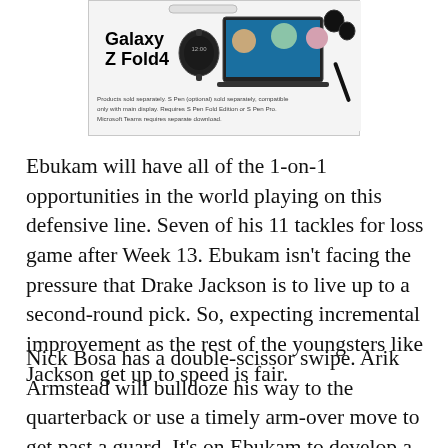[Figure (advertisement): Samsung Galaxy Z Fold4 advertisement showing the phone, a smartwatch, earbuds, an S Pen, and a laptop with a video call. Text reads 'Galaxy Z Fold4' and disclaimer about products sold separately.]
Ebukam will have all of the 1-on-1 opportunities in the world playing on this defensive line. Seven of his 11 tackles for loss game after Week 13. Ebukam isn't facing the pressure that Drake Jackson is to live up to a second-round pick. So, expecting incremental improvement as the rest of the youngsters like Jackson get up to speed is fair.
Nick Bosa has a double-scissor swipe. Arik Armstead will bulldoze his way to the quarterback or use a timely arm-over move to get past a guard. It's on Ebukam to develop a patent go to pass rush move. That's how he